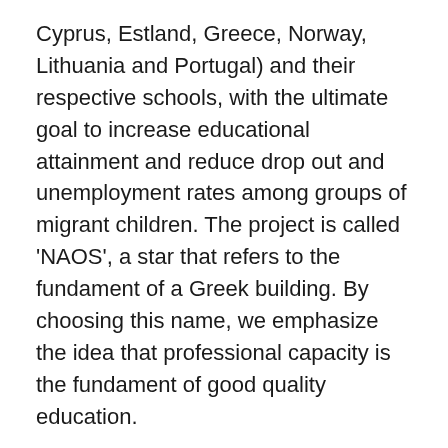Cyprus, Estland, Greece, Norway, Lithuania and Portugal) and their respective schools, with the ultimate goal to increase educational attainment and reduce drop out and unemployment rates among groups of migrant children. The project is called 'NAOS', a star that refers to the fundament of a Greek building. By choosing this name, we emphasize the idea that professional capacity is the fundament of good quality education.
A review of the literature (Severiens, Wolff & Van Herpen, 2014) shows that strengthening professional capacity with the aim to stimulate school success among diverse groups of migrant students asks for expertise in five content areas. Urban teachers (or teachers in classrooms with diverse student populations) should first of all know about language development in classes of pupils whose first